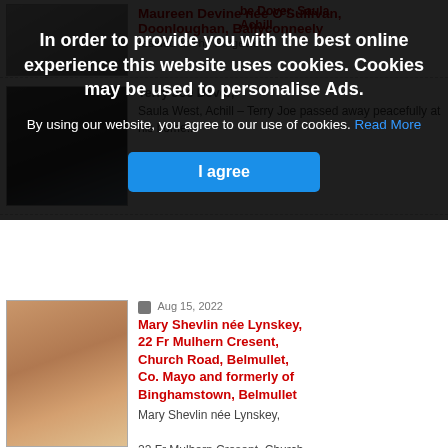In order to provide you with the best online experience this website uses cookies. Cookies may be used to personalise Ads.
By using our website, you agree to our use of cookies. Read More
I agree
Maureen Devine née O'Sullivan, Doonloughan, Ballyconneely
resided at The Ridgeview
be Dover, Saula Achill
[Figure (photo): Photo of elderly man in dark jacket with blue shirt]
Terry Joe Dever,
Saula West, Achill – Terry Joe passed away peacefully at his home...
Aug 15, 2022
[Figure (photo): Photo of older woman with glasses and light jacket, smiling]
Mary Shevlin née Lynskey, 22 Fr Mulhern Cresent, Church Road, Belmullet, Co. Mayo and formerly of Binghamstown, Belmullet
Mary Shevlin née Lynskey,
22 Fr Mulhern Cresent, Church